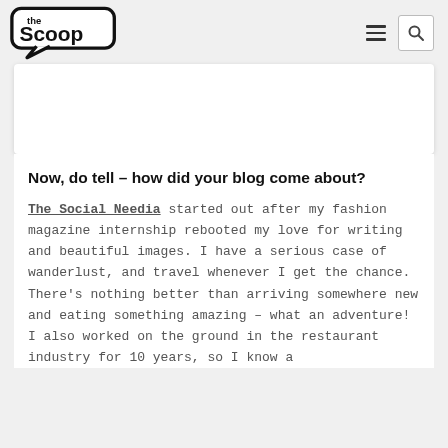the Scoop
[Figure (other): White rectangular image placeholder area]
Now, do tell – how did your blog come about?
The Social Needia started out after my fashion magazine internship rebooted my love for writing and beautiful images. I have a serious case of wanderlust, and travel whenever I get the chance. There's nothing better than arriving somewhere new and eating something amazing – what an adventure! I also worked on the ground in the restaurant industry for 10 years, so I know a